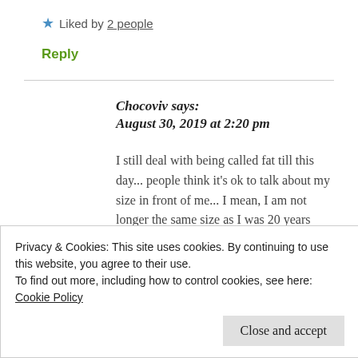★ Liked by 2 people
Reply
Chocoviv says:
August 30, 2019 at 2:20 pm
I still deal with being called fat till this day... people think it's ok to talk about my size in front of me... I mean, I am not longer the same size as I was 20 years
Privacy & Cookies: This site uses cookies. By continuing to use this website, you agree to their use.
To find out more, including how to control cookies, see here: Cookie Policy
Close and accept